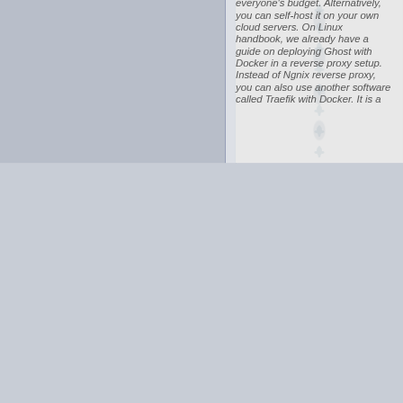everyone's budget. Alternatively, you can self-host it on your own cloud servers. On Linux handbook, we already have a guide on deploying Ghost with Docker in a reverse proxy setup. Instead of Ngnix reverse proxy, you can also use another software called Traefik with Docker. It is a